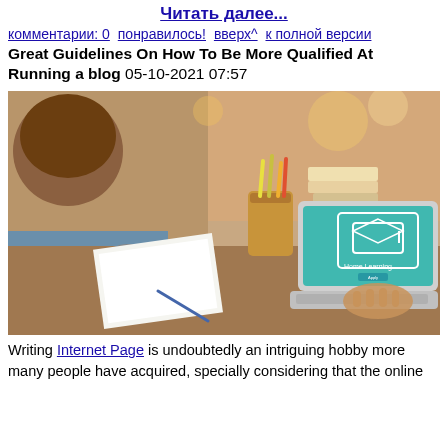Читать далее...
комментарии: 0  понравилось!  вверх^  к полной версии
Great Guidelines On How To Be More Qualified At Running a blog 05-10-2021 07:57
[Figure (photo): Person sitting at a wooden desk writing notes with a pen while using a laptop showing 'Home Learning' screen with a graduation cap icon. Pencil holder, books, and glasses visible on desk.]
Writing Internet Page is undoubtedly an intriguing hobby more many people have acquired, specially considering that the online